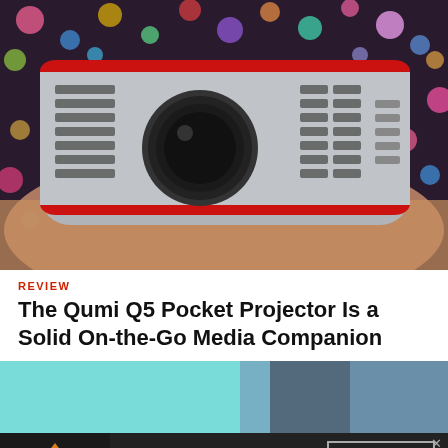[Figure (photo): Close-up photo of a Qumi Q5 pocket projector (silver and red) held in a hand, with a colorful bokeh light background]
REVIEW
The Qumi Q5 Pocket Projector Is a Solid On-the-Go Media Companion
[Figure (photo): Partial photo showing teal/blue background with dark fabric, partially visible]
[Figure (photo): Advertisement banner for Seamless food delivery with pizza image on left, red Seamless logo in center, and ORDER NOW button on right]